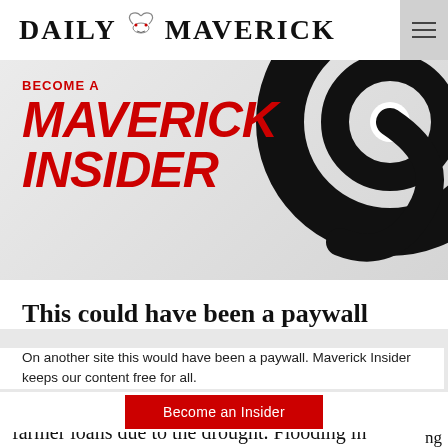DAILY MAVERICK
[Figure (illustration): Daily Maverick 'Become a Maverick Insider' promotional banner with large red bold italic text and black spiral graphic on gray background]
This could have been a paywall
On another site this would have been a paywall. Maverick Insider keeps our content free for all.
Become an Insider
farmer loans due to the drought. Flooding in